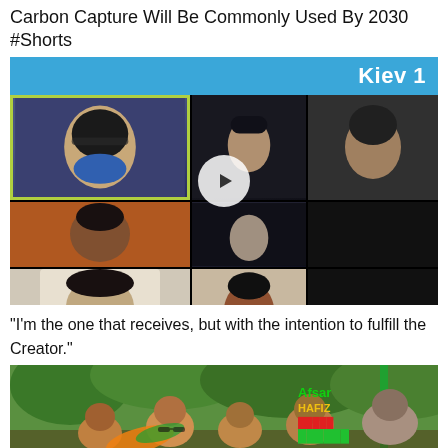Carbon Capture Will Be Commonly Used By 2030 #Shorts
[Figure (screenshot): Video thumbnail showing a multi-participant video call layout with 'Kiev 1' label in top right on a blue bar. Multiple participants visible in grid layout. A play button is centered on the image.]
"I'm the one that receives, but with the intention to fulfill the Creator."
[Figure (photo): Outdoor photo showing a group of people, some wearing saffron scarves, with green trees in background. A watermark reads 'Afsar Hafiz' with additional text in red and green.]